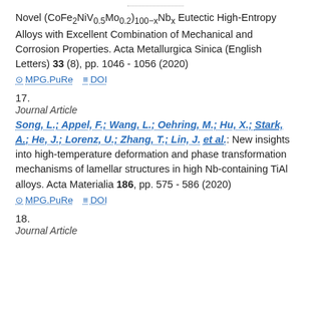Novel (CoFe2NiV0.5Mo0.2)100−xNbx Eutectic High-Entropy Alloys with Excellent Combination of Mechanical and Corrosion Properties. Acta Metallurgica Sinica (English Letters) 33 (8), pp. 1046 - 1056 (2020)
MPG.PuRe   DOI
17.
Journal Article
Song, L.; Appel, F.; Wang, L.; Oehring, M.; Hu, X.; Stark, A.; He, J.; Lorenz, U.; Zhang, T.; Lin, J. et al.: New insights into high-temperature deformation and phase transformation mechanisms of lamellar structures in high Nb-containing TiAl alloys. Acta Materialia 186, pp. 575 - 586 (2020)
MPG.PuRe   DOI
18.
Journal Article